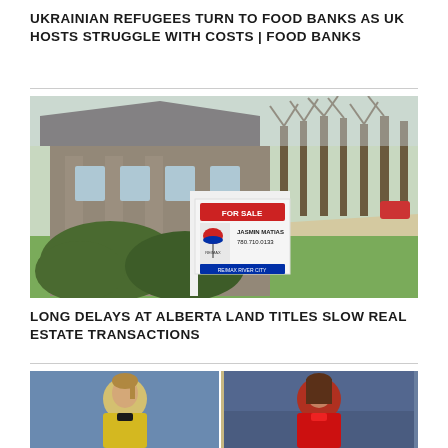UKRAINIAN REFUGEES TURN TO FOOD BANKS AS UK HOSTS STRUGGLE WITH COSTS | FOOD BANKS
[Figure (photo): A RE/MAX real estate 'For Sale' sign in front of a suburban house. The sign reads 'FOR SALE', 'JASMIN MATIAS', '780.710.0133'. Tree-lined sidewalk visible in background.]
LONG DELAYS AT ALBERTA LAND TITLES SLOW REAL ESTATE TRANSACTIONS
[Figure (photo): Two female soccer players side by side. Left player wears a yellow/gold jersey, right player wears a red jersey. Stadium seating visible in background.]